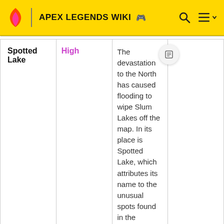APEX LEGENDS WIKI
| Location | Level | Description |  |
| --- | --- | --- | --- |
| Spotted Lake | High | The devastation to the North has caused flooding to wipe Slum Lakes off the map. In its place is Spotted Lake, which attributes its name to the unusual spots found in the flooded, contaminated waters. ECHO camps have been set up and a huge Filtration Dam has been |  |